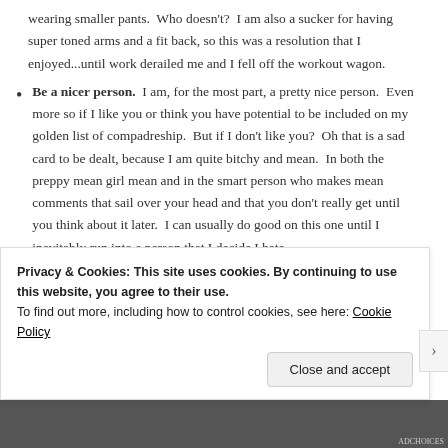wearing smaller pants.  Who doesn't?  I am also a sucker for having super toned arms and a fit back, so this was a resolution that I enjoyed...until work derailed me and I fell off the workout wagon.
Be a nicer person.  I am, for the most part, a pretty nice person.  Even more so if I like you or think you have potential to be included on my golden list of compadreship.  But if I don't like you?  Oh that is a sad card to be dealt, because I am quite bitchy and mean.  In both the preppy mean girl mean and in the smart person who makes mean comments that sail over your head and that you don't really get until you think about it later.  I can usually do good on this one until I inevitably run into a person that I decide I hate.
Privacy & Cookies: This site uses cookies. By continuing to use this website, you agree to their use.
To find out more, including how to control cookies, see here: Cookie Policy